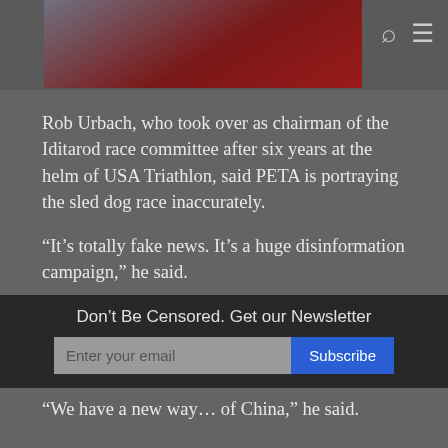[Header bar with logo and navigation icons]
Rob Urbach, who took over as chairman of the Iditarod race committee after six years at the helm of USA Triathlon, said PETA is portraying the sled dog race inaccurately.
“It’s totally fake news. It’s a huge disinformation campaign,” he said.
The Iditarod has created new ways to bring in revenue and fans, such as an “Iditarod Trifecta” that allows people to bet on the race outcome, and an expansion of its online video subscription service, he said.
Don’t Be Censored. Get our Newsletter
“We have a new way… of China,” he said.